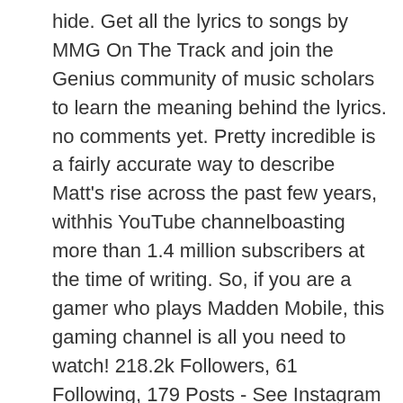hide. Get all the lyrics to songs by MMG On The Track and join the Genius community of music scholars to learn the meaning behind the lyrics. no comments yet. Pretty incredible is a fairly accurate way to describe Matt's rise across the past few years, withhis YouTube channelboasting more than 1.4 million subscribers at the time of writing. So, if you are a gamer who plays Madden Mobile, this gaming channel is all you need to watch! 218.2k Followers, 61 Following, 179 Posts - See Instagram photos and videos from Belle Delphine (@belledelphine4life) It means a ton to me that ya'll actually come and watch my videos. Moda. 0 comments. His brother also owns a YouTube channel of his own. 329 Followers, 276 Following, 0 Posts - See Instagram photos and videos from @mmg_princess and 'Best Golden Ticket Draft